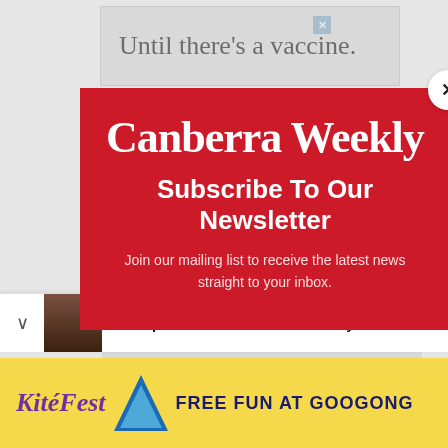[Figure (screenshot): Background webpage content with partial ad showing 'Until there’s a vaccine.' text]
[Figure (infographic): Canberra Weekly newsletter subscription modal popup on red background with logo, subscribe title, and description text]
Canberra Weekly
Subscribe To Our Newsletter
Join our mailing list to receive the latest news straight to your inbox.
Email
1 Simple Routine That Melts Away
[Figure (infographic): KiteFest advertisement banner with purple logo, kite graphic, and 'FREE FUN AT GOOGONG' text on yellow background]